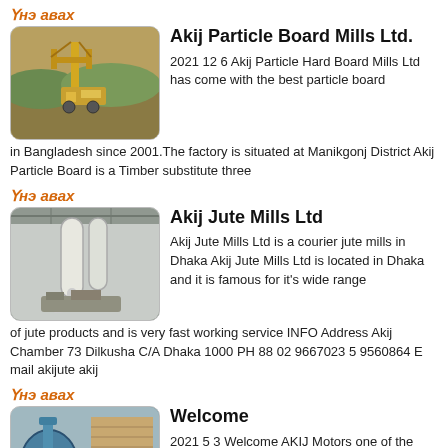Үнэ авах
Akij Particle Board Mills Ltd.
[Figure (photo): Industrial machinery/equipment photo – yellow mining or crushing equipment outdoors]
2021 12 6 Akij Particle Hard Board Mills Ltd has come with the best particle board in Bangladesh since 2001.The factory is situated at Manikgonj District Akij Particle Board is a Timber substitute three
Үнэ авах
Akij Jute Mills Ltd
[Figure (photo): Industrial interior photo – large white pipes and machinery in a factory setting]
Akij Jute Mills Ltd is a courier jute mills in Dhaka Akij Jute Mills Ltd is located in Dhaka and it is famous for it's wide range of jute products and is very fast working service INFO Address Akij Chamber 73 Dilkusha C/A Dhaka 1000 PH 88 02 9667023 5 9560864 E mail akijute akij
Үнэ авах
Welcome
[Figure (photo): Industrial equipment photo – blue/teal machinery in a factory]
2021 5 3 Welcome AKIJ Motors one of the biggest auto mobile companies in